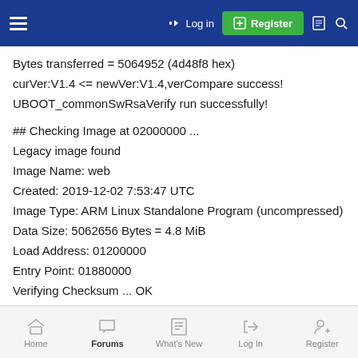Log in | Register
Bytes transferred = 5064952 (4d48f8 hex)
curVer:V1.4 <= newVer:V1.4,verCompare success!
UBOOT_commonSwRsaVerify run successfully!
## Checking Image at 02000000 ...
Legacy image found
Image Name: web
Created: 2019-12-02 7:53:47 UTC
Image Type: ARM Linux Standalone Program (uncompressed)
Data Size: 5062656 Bytes = 4.8 MiB
Load Address: 01200000
Entry Point: 01880000
Verifying Checksum ... OK
Programing start at: 0x01200000 for web
Home | Forums | What's New | Log In | Register